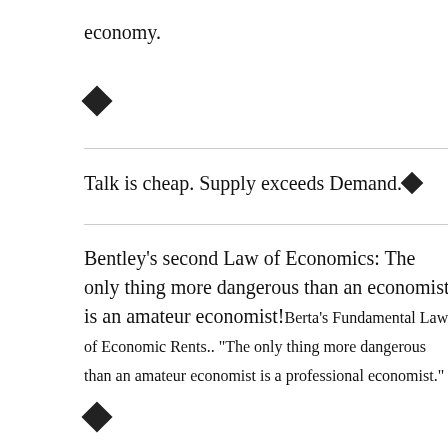economy.
[Figure (other): Decorative diamond/bullet symbol]
Talk is cheap. Supply exceeds Demand.◆
Bentley's second Law of Economics: The only thing more dangerous than an economist is an amateur economist!Berta's Fundamental Law of Economic Rents.. "The only thing more dangerous than an amateur economist is a professional economist."
[Figure (other): Decorative diamond/bullet symbol]